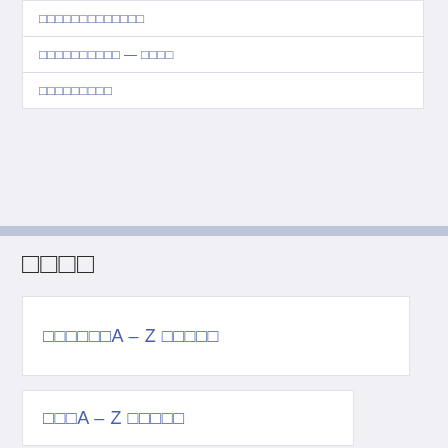□□□□□□□□□□□□□
□□□□□□□□□□ — □□□□
□□□□□□□□□
□□□□
□□□□□□A – Z □□□□□
□□□A – Z □□□□□